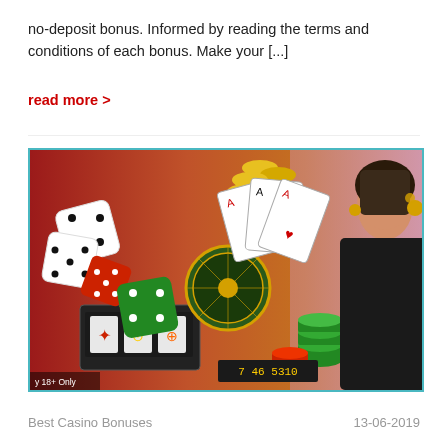no-deposit bonus. Informed by reading the terms and conditions of each bonus. Make your [...]
read more >
[Figure (photo): Casino promotional image featuring dice, playing cards, a roulette wheel, slot machine, casino chips, and a woman in a black dress. Text overlay: '18+ Only'.]
Best Casino Bonuses
13-06-2019